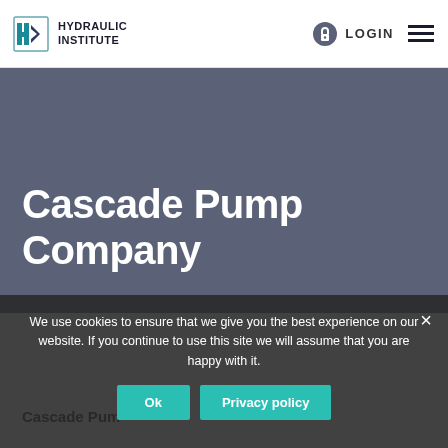HYDRAULIC INSTITUTE — LOGIN — Menu
Cascade Pump Company
[Figure (logo): Cascade Pump Company logo — circular emblem with stylized 'C' lettering in teal/blue, partial view]
Cascade Pump Company
We use cookies to ensure that we give you the best experience on our website. If you continue to use this site we will assume that you are happy with it.
Ok
Privacy policy